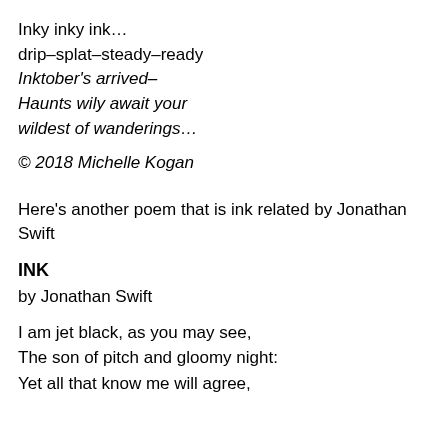Inky inky ink…
drip–splat–steady–ready
Inktober's arrived–
Haunts wily await your
wildest of wanderings…
© 2018 Michelle Kogan
Here's another poem that is ink related by Jonathan Swift
INK
by Jonathan Swift
I am jet black, as you may see,
The son of pitch and gloomy night:
Yet all that know me will agree,